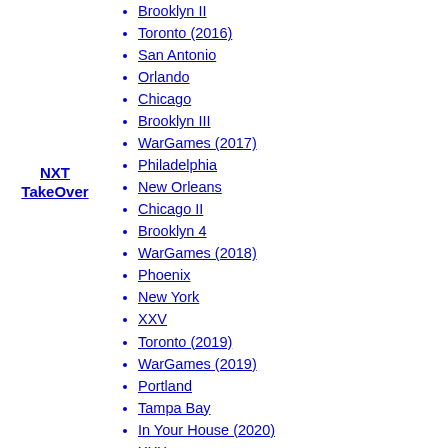NXT TakeOver
The End
Brooklyn II
Toronto (2016)
San Antonio
Orlando
Chicago
Brooklyn III
WarGames (2017)
Philadelphia
New Orleans
Chicago II
Brooklyn 4
WarGames (2018)
Phoenix
New York
XXV
Toronto (2019)
WarGames (2019)
Portland
Tampa Bay
In Your House (2020)
XXX
31
WarGames (2020)
Vengeance Day